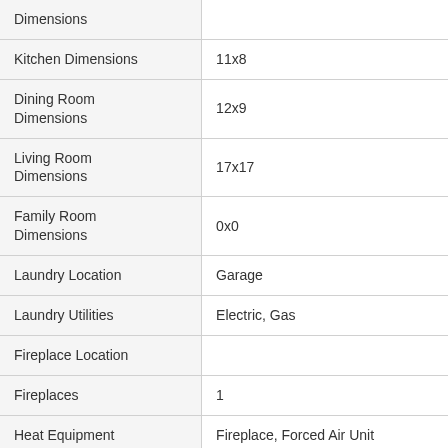| Property | Value |
| --- | --- |
| Dimensions |  |
| Kitchen Dimensions | 11x8 |
| Dining Room Dimensions | 12x9 |
| Living Room Dimensions | 17x17 |
| Family Room Dimensions | 0x0 |
| Laundry Location | Garage |
| Laundry Utilities | Electric, Gas |
| Fireplace Location |  |
| Fireplaces | 1 |
| Heat Equipment | Fireplace, Forced Air Unit |
| Heat Source | Electric,Natural Gas |
| Cooling | Central Forced Air |
| Telecommunications |  |